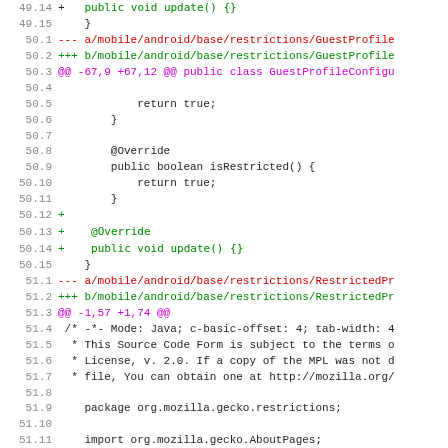[Figure (screenshot): Code diff viewer showing Java source file changes. Lines 49.14-51.16 of a diff. Line numbers on left in gray, code content on right. Added lines (+) in green, removed lines (---/+++) in red/green, diff headers (@@ @@) in magenta, unchanged code in black. Content includes GuestProfileConfigu and RestrictedPro file diffs with Java code including @Override, public void update(){}, public boolean isRestricted(), return true, package org.mozilla.gecko.restrictions, import statements.]